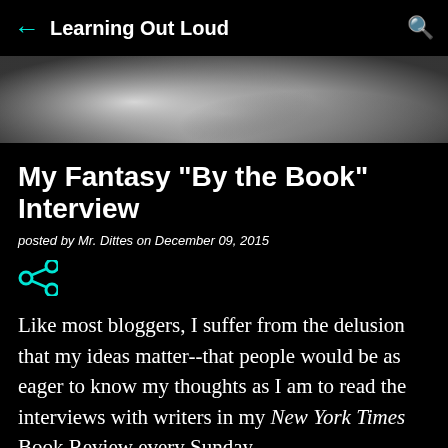Learning Out Loud
[Figure (photo): Blurred grayscale hero image, abstract light and dark tones]
My Fantasy "By the Book" Interview
posted by Mr. Dittes on December 09, 2015
[Figure (other): Share icon (teal/cyan)]
Like most bloggers, I suffer from the delusion that my ideas matter--that people would be as eager to know my thoughts as I am to read the interviews with writers in my New York Times Book Review every Sunday.